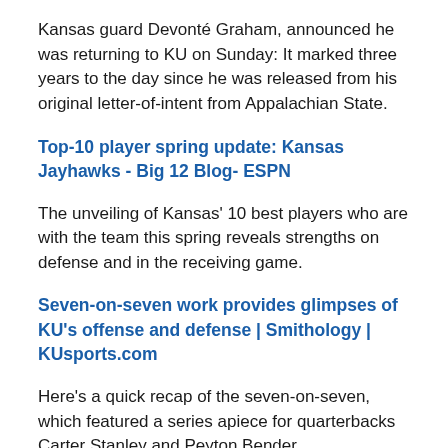Kansas guard Devonté Graham, announced he was returning to KU on Sunday: It marked three years to the day since he was released from his original letter-of-intent from Appalachian State.
Top-10 player spring update: Kansas Jayhawks - Big 12 Blog- ESPN
The unveiling of Kansas' 10 best players who are with the team this spring reveals strengths on defense and in the receiving game.
Seven-on-seven work provides glimpses of KU's offense and defense | Smithology | KUsports.com
Here's a quick recap of the seven-on-seven, which featured a series apiece for quarterbacks Carter Stanley and Peyton Bender.